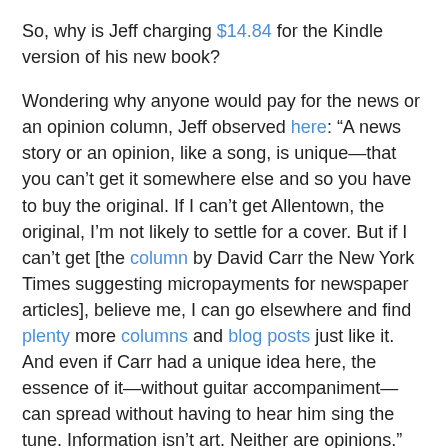So, why is Jeff charging $14.84 for the Kindle version of his new book?
Wondering why anyone would pay for the news or an opinion column, Jeff observed here: “A news story or an opinion, like a song, is unique—that you can’t get it somewhere else and so you have to buy the original. If I can’t get Allentown, the original, I’m not likely to settle for a cover. But if I can’t get [the column by David Carr the New York Times suggesting micropayments for newspaper articles], believe me, I can go elsewhere and find plenty more columns and blog posts just like it. And even if Carr had a unique idea here, the essence of it—without guitar accompaniment—can spread without having to hear him sing the tune. Information isn’t art. Neither are opinions.”
So, why is Jeff charging $9.99 to download a video infomercial for his new book?
He forthrightly answered the question himself here in Newsweek: “I’m a hypocrite. I didn’t put this book up as a purely digital, searchable, linkable entity — I didn’t eat my